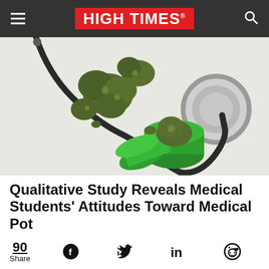HIGH TIMES
[Figure (photo): Cannabis buds and a stethoscope on a white surface with a green pill container]
Qualitative Study Reveals Medical Students' Attitudes Toward Medical Pot
90 Share [social share icons: Facebook, Twitter, LinkedIn, Reddit]